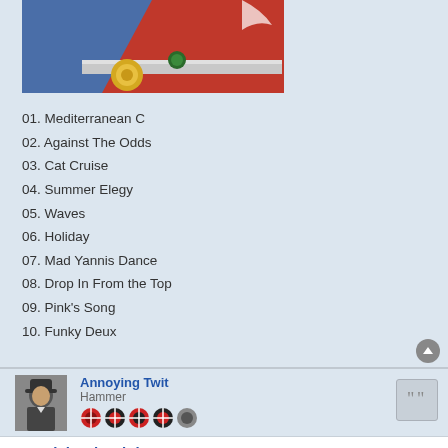[Figure (photo): Partial photo of album cover showing blue and red elements with metallic hardware]
01. Mediterranean C
02. Against The Odds
03. Cat Cruise
04. Summer Elegy
05. Waves
06. Holiday
07. Mad Yannis Dance
08. Drop In From the Top
09. Pink's Song
10. Funky Deux
Annoying Twit
Hammer
Re: Richard Wright - Wet Dream
Sun Jan 11, 2009 9:16 pm
I think this is a really good album, and it's a great pity he didn't contribute more to PF albums after WYWH. hope he gets credit in Redux Shine...